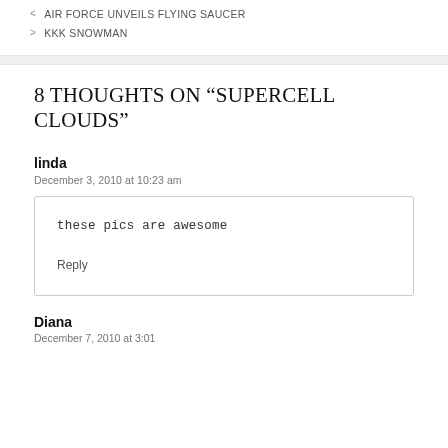AIR FORCE UNVEILS FLYING SAUCER
KKK SNOWMAN
8 THOUGHTS ON “SUPERCELL CLOUDS”
linda
December 3, 2010 at 10:23 am
these pics are awesome
Reply
Diana
December 7, 2010 at 3:01